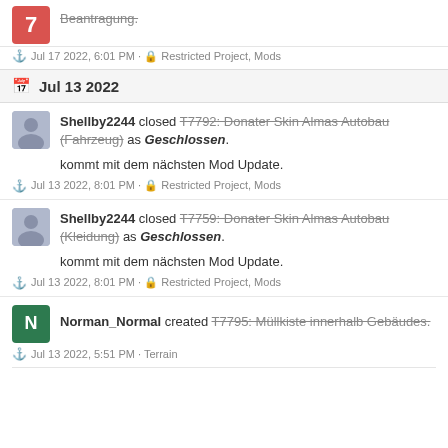Beantragung.
Jul 17 2022, 6:01 PM · Restricted Project, Mods
Jul 13 2022
Shellby2244 closed T7792: Donater Skin Almas Autobau (Fahrzeug) as Geschlossen.
kommt mit dem nächsten Mod Update.
Jul 13 2022, 8:01 PM · Restricted Project, Mods
Shellby2244 closed T7759: Donater Skin Almas Autobau (Kleidung) as Geschlossen.
kommt mit dem nächsten Mod Update.
Jul 13 2022, 8:01 PM · Restricted Project, Mods
Norman_Normal created T7795: Müllkiste innerhalb Gebäudes.
Jul 13 2022, 5:51 PM · Terrain